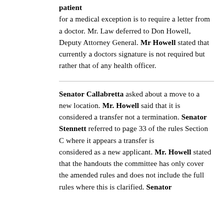patient for a medical exception is to require a letter from a doctor. Mr. Law deferred to Don Howell, Deputy Attorney General. Mr Howell stated that currently a doctors signature is not required but rather that of any health officer.
Senator Callabretta asked about a move to a new location. Mr. Howell said that it is considered a transfer not a termination. Senator Stennett referred to page 33 of the rules Section C where it appears a transfer is considered as a new applicant. Mr. Howell stated that the handouts the committee has only cover the amended rules and does not include the full rules where this is clarified. Senator